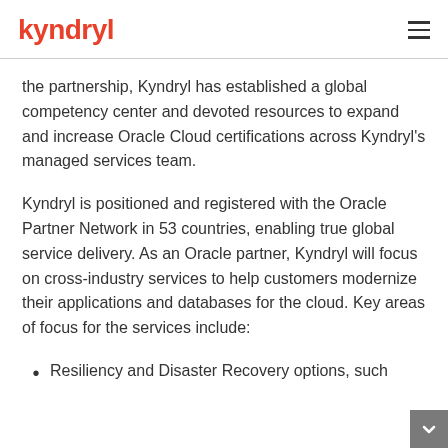kyndryl
the partnership, Kyndryl has established a global competency center and devoted resources to expand and increase Oracle Cloud certifications across Kyndryl's managed services team.
Kyndryl is positioned and registered with the Oracle Partner Network in 53 countries, enabling true global service delivery. As an Oracle partner, Kyndryl will focus on cross-industry services to help customers modernize their applications and databases for the cloud. Key areas of focus for the services include:
Resiliency and Disaster Recovery options, such